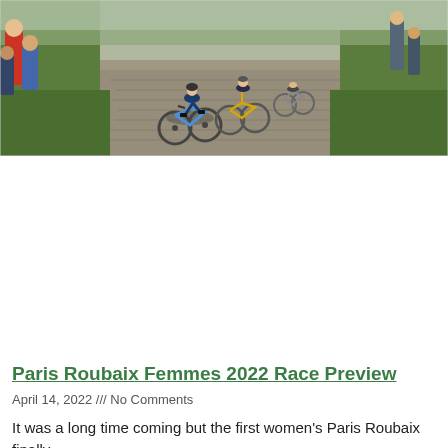[Figure (photo): Cyclists racing on a cobblestone path through a rural landscape, with grass on either side and spectators visible on the left. Riders are wearing cycling gear and helmets.]
Paris Roubaix Femmes 2022 Race Preview
April 14, 2022 /// No Comments
It was a long time coming but the first women's Paris Roubaix finally